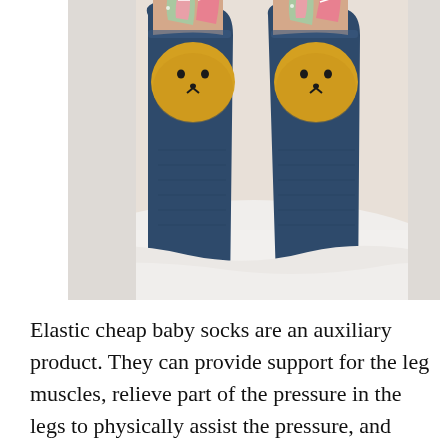[Figure (photo): A child's legs wearing dark navy blue knee-high socks with cute 3D bunny-face appliques on the front. The bunny faces are yellow/mustard colored with embroidered eyes and noses, and the ears are fabric — one side green with white polka dots, one side red/pink with white stripes. The child is sitting on white fabric/bedding.]
Elastic cheap baby socks are an auxiliary product. They can provide support for the leg muscles, relieve part of the pressure in the legs to physically assist the pressure, and help the